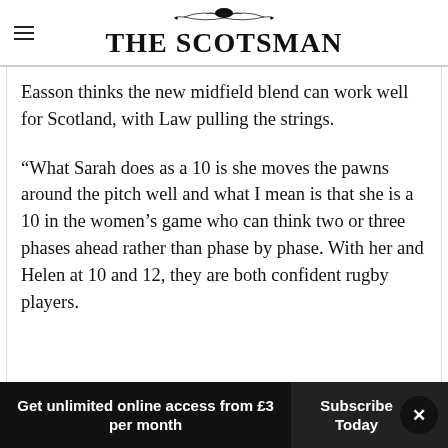THE SCOTSMAN
Easson thinks the new midfield blend can work well for Scotland, with Law pulling the strings.
“What Sarah does as a 10 is she moves the pawns around the pitch well and what I mean is that she is a 10 in the women’s game who can think two or three phases ahead rather than phase by phase. With her and Helen at 10 and 12, they are both confident rugby players.
Get unlimited online access from £3 per month | Subscribe Today